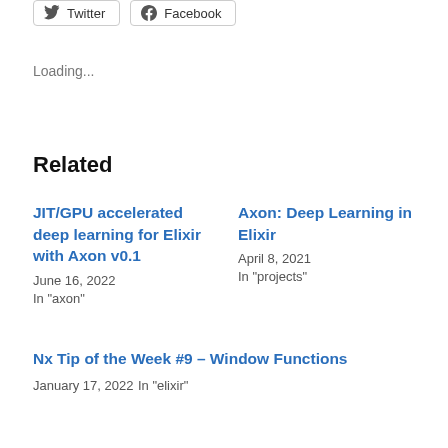[Figure (other): Twitter and Facebook share buttons]
Loading...
Related
JIT/GPU accelerated deep learning for Elixir with Axon v0.1
June 16, 2022
In "axon"
Axon: Deep Learning in Elixir
April 8, 2021
In "projects"
Nx Tip of the Week #9 – Window Functions
January 17, 2022
In "elixir"